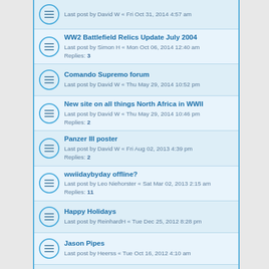Last post by Bart V. « Fri Oct 31, 2014 4:57 am
WW2 Battlefield Relics Update July 2004
Last post by Simon H « Mon Oct 06, 2014 12:40 am
Replies: 3
Comando Supremo forum
Last post by David W « Thu May 29, 2014 10:52 pm
New site on all things North Africa in WWII
Last post by David W « Thu May 29, 2014 10:46 pm
Replies: 2
Panzer III poster
Last post by David W « Fri Aug 02, 2013 4:39 pm
Replies: 2
wwiidaybyday offline?
Last post by Leo Niehorster « Sat Mar 02, 2013 2:15 am
Replies: 11
Happy Holidays
Last post by ReinhardH « Tue Dec 25, 2012 8:28 pm
Jason Pipes
Last post by Heerss « Tue Oct 16, 2012 4:10 am
WW2 Battlefield Relics
Last post by Simon H « Wed Jul 18, 2012 4:00 am
Replies: 6
The World Wars Today is back online
Last post by fridgeman « Thu Jun 21, 2012 12:36 am
Replies: 1